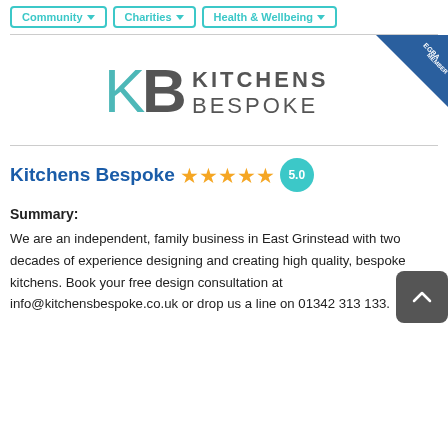Community | Charities | Health & Wellbeing
[Figure (logo): Kitchens Bespoke logo with KB monogram and EGBA Member badge]
Kitchens Bespoke ★★★★★ 5.0
Summary:
We are an independent, family business in East Grinstead with two decades of experience designing and creating high quality, bespoke kitchens. Book your free design consultation at info@kitchensbespoke.co.uk or drop us a line on 01342 313 133.